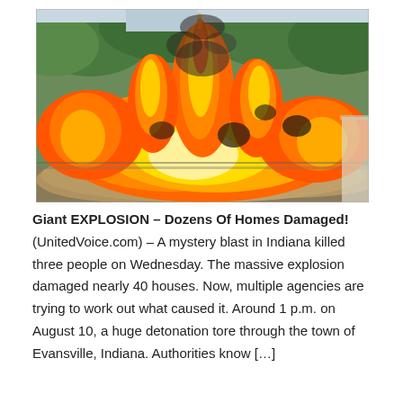[Figure (photo): A large explosion with massive orange and yellow flames billowing upward against a backdrop of green trees. Thick smoke and dust surround the fireball. The scene appears to be an outdoor explosion at ground level.]
Giant EXPLOSION – Dozens Of Homes Damaged! (UnitedVoice.com) – A mystery blast in Indiana killed three people on Wednesday. The massive explosion damaged nearly 40 houses. Now, multiple agencies are trying to work out what caused it. Around 1 p.m. on August 10, a huge detonation tore through the town of Evansville, Indiana. Authorities know […]